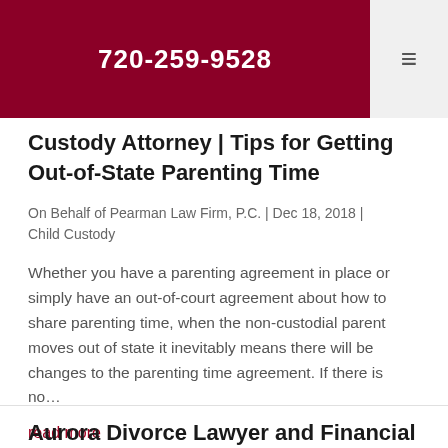720-259-9528
Custody Attorney | Tips for Getting Out-of-State Parenting Time
On Behalf of Pearman Law Firm, P.C. | Dec 18, 2018 | Child Custody
Whether you have a parenting agreement in place or simply have an out-of-court agreement about how to share parenting time, when the non-custodial parent moves out of state it inevitably means there will be changes to the parenting time agreement. If there is no…
read more
Aurora Divorce Lawyer and Financial